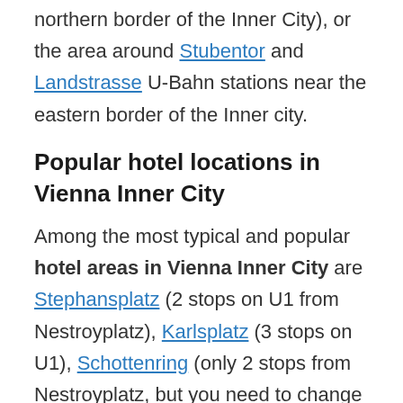northern border of the Inner City), or the area around Stubentor and Landstrasse U-Bahn stations near the eastern border of the Inner city.
Popular hotel locations in Vienna Inner City
Among the most typical and popular hotel areas in Vienna Inner City are Stephansplatz (2 stops on U1 from Nestroyplatz), Karlsplatz (3 stops on U1), Schottenring (only 2 stops from Nestroyplatz, but you need to change